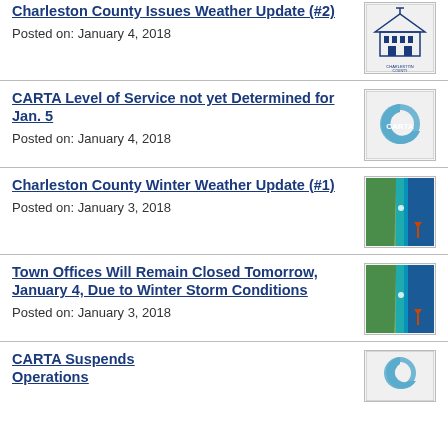Charleston County Issues Weather Update (#2)
Posted on: January 4, 2018
CARTA Level of Service not yet Determined for Jan. 5
Posted on: January 4, 2018
Charleston County Winter Weather Update (#1)
Posted on: January 3, 2018
Town Offices Will Remain Closed Tomorrow, January 4, Due to Winter Storm Conditions
Posted on: January 3, 2018
CARTA Suspends Operations